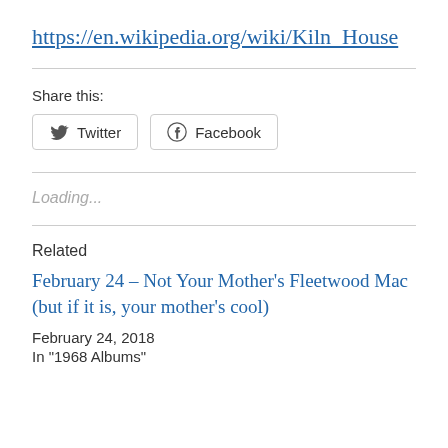https://en.wikipedia.org/wiki/Kiln_House
Share this:
Twitter  Facebook
Loading...
Related
February 24 – Not Your Mother's Fleetwood Mac (but if it is, your mother's cool)
February 24, 2018
In "1968 Albums"